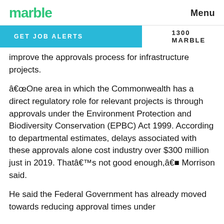marble   Menu
GET JOB ALERTS   1300 MARBLE
improve the approvals process for infrastructure projects.
“One area in which the Commonwealth has a direct regulatory role for relevant projects is through approvals under the Environment Protection and Biodiversity Conservation (EPBC) Act 1999. According to departmental estimates, delays associated with these approvals alone cost industry over $300 million just in 2019. That’s not good enough,” Morrison said.
He said the Federal Government has already moved towards reducing approval times under